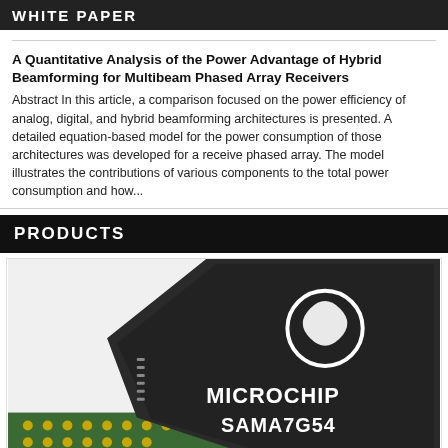WHITE PAPER
A Quantitative Analysis of the Power Advantage of Hybrid Beamforming for Multibeam Phased Array Receivers
Abstract In this article, a comparison focused on the power efficiency of analog, digital, and hybrid beamforming architectures is presented. A detailed equation-based model for the power consumption of those architectures was developed for a receive phased array. The model illustrates the contributions of various components to the total power consumption and how...
PRODUCTS
[Figure (photo): Close-up photograph of a Microchip SAMA7G54 integrated circuit chip on a PCB board with green substrate and solder pads visible]